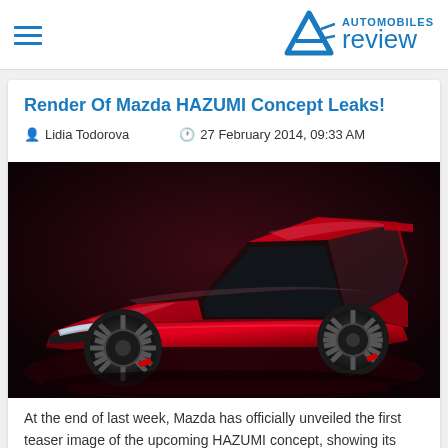Automobiles Review — navigation header with logo
Render Of Mazda HAZUMI Concept Leaks!
Lidia Todorova   27 February 2014, 09:33 AM
[Figure (photo): Render/concept art of the Mazda HAZUMI concept car — a sleek red hatchback shown in three-quarter front view against a dark dramatic background]
At the end of last week, Mazda has officially unveiled the first teaser image of the upcoming HAZUMI concept, showing its